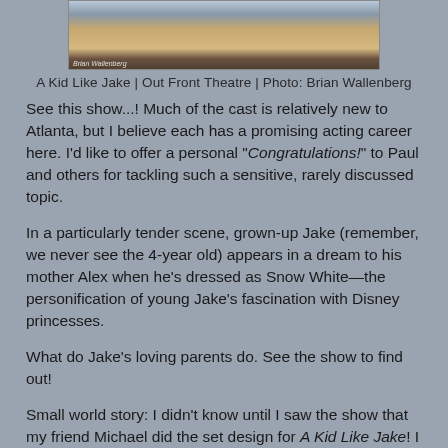[Figure (photo): Partial photo of a stage set showing a table with colorful items, and a dark-colored dog or cat nearby, from the theatre production A Kid Like Jake at Out Front Theatre. Photo credit: Brian Wallenberg.]
A Kid Like Jake | Out Front Theatre | Photo: Brian Wallenberg
See this show...! Much of the cast is relatively new to Atlanta, but I believe each has a promising acting career here. I'd like to offer a personal "Congratulations!" to Paul and others for tackling such a sensitive, rarely discussed topic.
In a particularly tender scene, grown-up Jake (remember, we never see the 4-year old) appears in a dream to his mother Alex when he's dressed as Snow White—the personification of young Jake's fascination with Disney princesses.
What do Jake's loving parents do. See the show to find out!
Small world story: I didn't know until I saw the show that my friend Michael did the set design for A Kid Like Jake! I knew that he has a love for theatre and stuied theatre in college, but didn't know he had contributed to this show.
Found after reading that Michael was the Set Design...